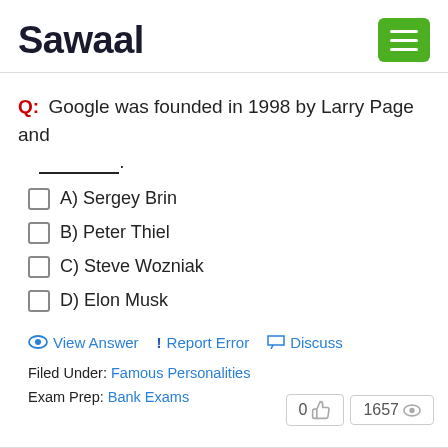Sawaal
Q: Google was founded in 1998 by Larry Page and _________.
A) Sergey Brin
B) Peter Thiel
C) Steve Wozniak
D) Elon Musk
View Answer   ! Report Error   Discuss
Filed Under: Famous Personalities
Exam Prep: Bank Exams
0  1657